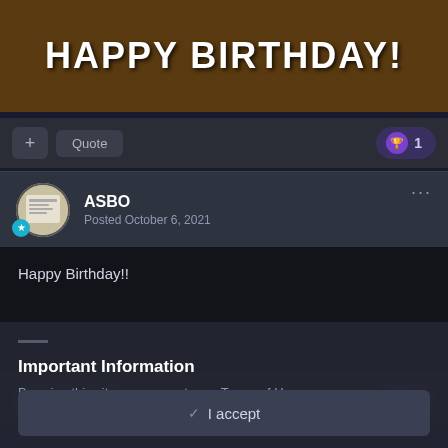[Figure (illustration): Happy Birthday banner image with cartoon characters and large white bold text reading HAPPY BIRTHDAY!]
+ Quote  🏆 1
ASBO
Posted October 6, 2021
Happy Birthday!!
+ Quote  🏆 1
Important Information
By using this site, you agree to our Terms of Use.
✓  I accept